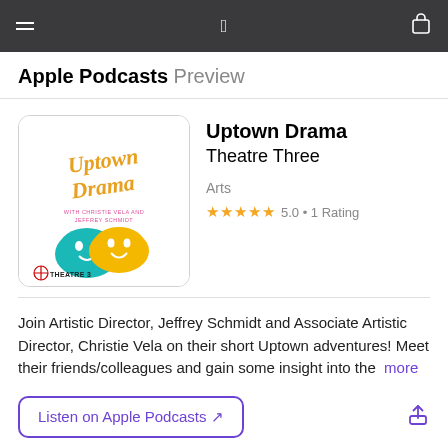Apple Podcasts Preview
[Figure (illustration): Uptown Drama podcast album art showing cursive orange text 'Uptown Drama', smaller text 'WITH CHRISTIE VELA AND JEFFREY SCHMIDT', and colorful theatre masks (teal and gold/yellow) with Theatre 3 logo at bottom left]
Uptown Drama
Theatre Three
Arts
★★★★★ 5.0 • 1 Rating
Join Artistic Director, Jeffrey Schmidt and Associate Artistic Director, Christie Vela on their short Uptown adventures! Meet their friends/colleagues and gain some insight into the more
Listen on Apple Podcasts ↗